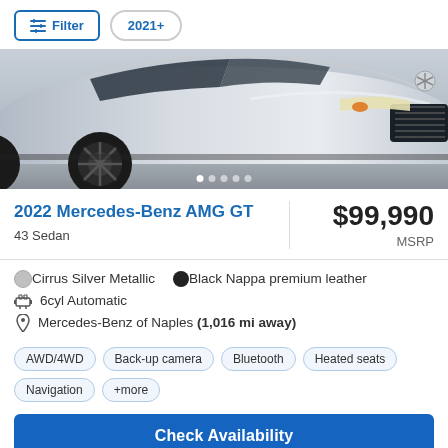Filter  2021+
[Figure (photo): Front view of a silver Mercedes-Benz AMG GT sedan, partial view showing hood, headlights, grille, and front wheel on a gray background]
2022 Mercedes-Benz AMG GT
$99,990 MSRP
43 Sedan
Cirrus Silver Metallic   Black Nappa premium leather
6cyl Automatic
Mercedes-Benz of Naples (1,016 mi away)
AWD/4WD  Back-up camera  Bluetooth  Heated seats  Navigation  +more
Check Availability